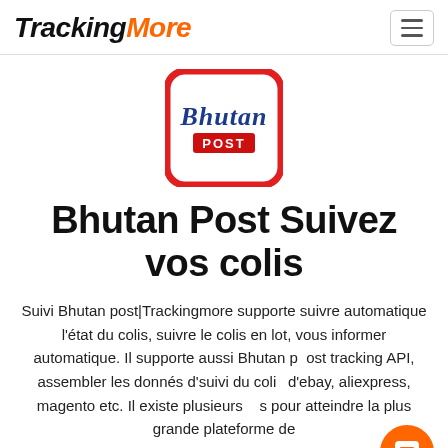TrackingMore
[Figure (logo): Bhutan Post logo: white rounded square with red border, cursive 'Bhutan' text in blue and red 'POST' banner below]
Bhutan Post Suivez vos colis
Suivi Bhutan post|Trackingmore supporte suivre automatique l'état du colis, suivre le colis en lot, vous informer automatique. Il supporte aussi Bhutan post tracking API, assembler les donnés d'suivi du colis d'ebay, aliexpress, magento etc. Il existe plusieurs pour atteindre la plus grande plateforme de